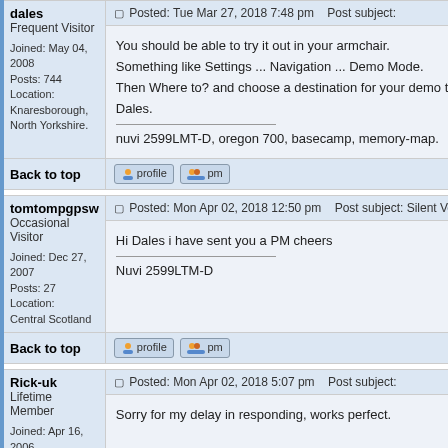dales
Frequent Visitor
Joined: May 04, 2008
Posts: 744
Location: Knaresborough, North Yorkshire.
Posted: Tue Mar 27, 2018 7:48 pm    Post subject:
You should be able to try it out in your armchair.

Something like Settings ... Navigation ... Demo Mode.

Then Where to? and choose a destination for your demo trip.

Dales.

nuvi 2599LMT-D, oregon 700, basecamp, memory-map.
Back to top
tomtompgpsw
Occasional Visitor
Joined: Dec 27, 2007
Posts: 27
Location: Central Scotland
Posted: Mon Apr 02, 2018 12:50 pm    Post subject: Silent Voice
Hi Dales i have sent you a PM cheers

Nuvi 2599LTM-D
Back to top
Rick-uk
Lifetime Member
Joined: Apr 16, 2006
Posted: Mon Apr 02, 2018 5:07 pm    Post subject:
Sorry for my delay in responding, works perfect.